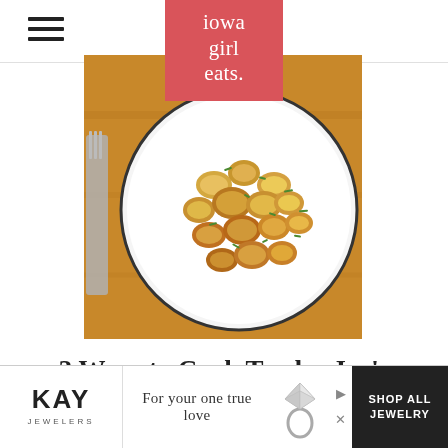iowa girl eats.
[Figure (photo): A white plate with golden-brown roasted cauliflower gnocchi pieces topped with chopped chives, placed on a wooden board. Overlaid with the Iowa Girl Eats logo in a coral/salmon colored box.]
3 Ways to Cook Trader Joe's Frozen Cauliflower
[Figure (other): Kay Jewelers advertisement banner: 'For your one true love' with shop all jewelry button and diamond ring imagery.]